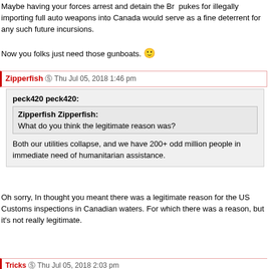Maybe having your forces arrest and detain the Br  pukes for illegally importing full auto weapons into Canada would serve as a fine deterrent for any such future incursions.

Now you folks just need those gunboats. 🙂
Zipperfish @ Thu Jul 05, 2018 1:46 pm
peck420 peck420:
Zipperfish Zipperfish:
What do you think the legitimate reason was?

Both our utilities collapse, and we have 200+ odd million people in immediate need of humanitarian assistance.
Oh sorry, In thought you meant there was a legitimate reason for the US Customs inspections in Canadian waters. For which there was a reason, but it's not really legitimate.
Tricks @ Thu Jul 05, 2018 2:03 pm